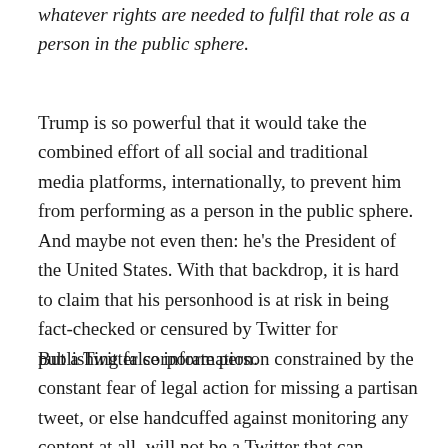whatever rights are needed to fulfil that role as a person in the public sphere.
Trump is so powerful that it would take the combined effort of all social and traditional media platforms, internationally, to prevent him from performing as a person in the public sphere. And maybe not even then: he's the President of the United States. With that backdrop, it is hard to claim that his personhood is at risk in being fact-checked or censured by Twitter for publishing false information.
But a Twitter corporate person constrained by the constant fear of legal action for missing a partisan tweet, or else handcuffed against monitoring any content at all, will not be a Twitter that can perform as a